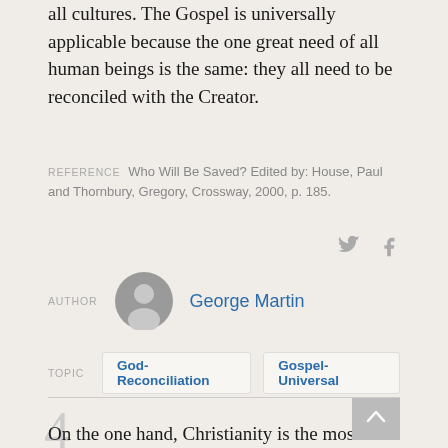all cultures. The Gospel is universally applicable because the one great need of all human beings is the same: they all need to be reconciled with the Creator.
REFERENCE   Who Will Be Saved? Edited by: House, Paul and Thornbury, Gregory, Crossway, 2000, p. 185.
AUTHOR   George Martin
TOPIC   God-Reconciliation   Gospel-Universal
4
On the one hand, Christianity is the most exclusive religion imaginable. It insists that belief in Jesus Christ is